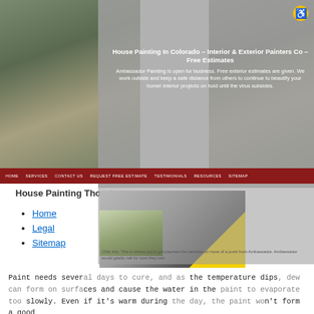[Figure (screenshot): Screenshot of a house painting website (Ambassador Painting / House Painting in Colorado) showing a header banner with house photos, navigation bar, and overlaid content about interior and exterior painters with free estimates. A semi-transparent gray overlay panel covers the center of the screenshot.]
House Painting Thornton
[Figure (photo): Photo of a man wearing a white shirt with a black polka-dot tie and pocket square, partially overlaid with a bright yellow triangle shape.]
Home
Legal
Sitemap
Paint needs several days to cure, and as the temperature dips, dew can form on surfaces and cause the water in the paint to evaporate too slowly. Even if it's warm during the day, the paint won't form a good